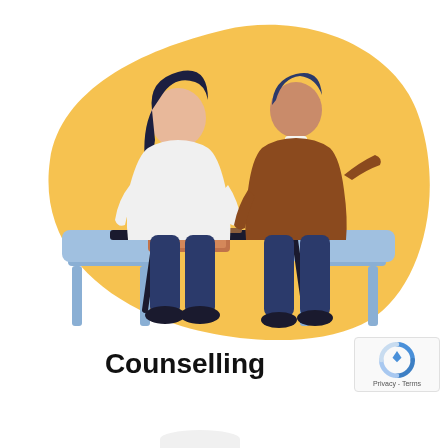[Figure (illustration): Flat vector illustration of two people at a counselling session. A woman with dark hair wearing a white top and dark pants sits on a blue chair on the left side of a dark table, with an open laptop in front of her. A man wearing a brown sweater and dark pants sits on a blue chair on the right side of the table, gesturing with his right hand as if speaking. Both figures are seated facing each other. The background features a large organic golden/amber blob shape behind them on a white background.]
Counselling
[Figure (logo): reCAPTCHA badge showing the Google reCAPTCHA logo (blue and grey circular arrow icon) with 'Privacy - Terms' text below.]